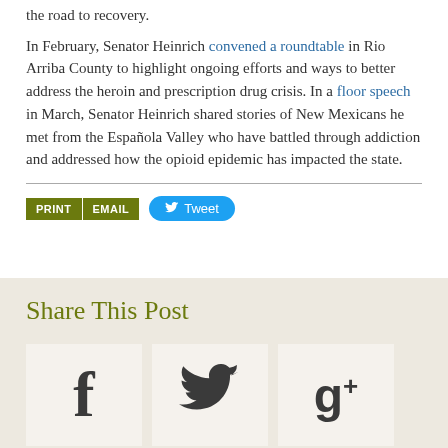the road to recovery.
In February, Senator Heinrich convened a roundtable in Rio Arriba County to highlight ongoing efforts and ways to better address the heroin and prescription drug crisis. In a floor speech in March, Senator Heinrich shared stories of New Mexicans he met from the Española Valley who have battled through addiction and addressed how the opioid epidemic has impacted the state.
PRINT | EMAIL | Tweet
Share This Post